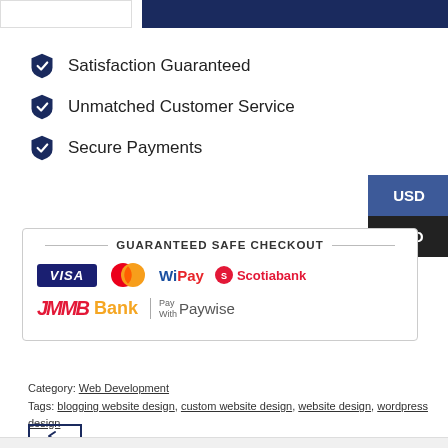[Figure (other): Top bar with white box on left and dark navy blue rectangle on right]
Satisfaction Guaranteed
Unmatched Customer Service
Secure Payments
[Figure (other): USD/TTD currency toggle buttons — USD selected in blue, TTD in dark]
[Figure (other): Guaranteed Safe Checkout box with payment logos: VISA, Mastercard, WiPay, Scotiabank, JMMB Bank, Pay With Paywise]
Category: Web Development
Tags: blogging website design, custom website design, website design, wordpress design
[Figure (other): Navigation back arrow box]
[Figure (other): Bottom bar area]